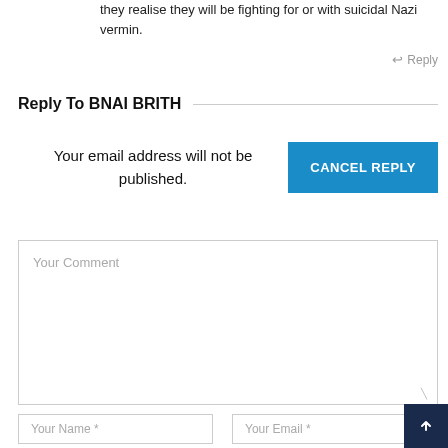they realise they will be fighting for or with suicidal Nazi vermin.
↩ Reply
Reply To BNAI BRITH
Your email address will not be published.
CANCEL REPLY
Your Comment
Your Name *
Your Email *